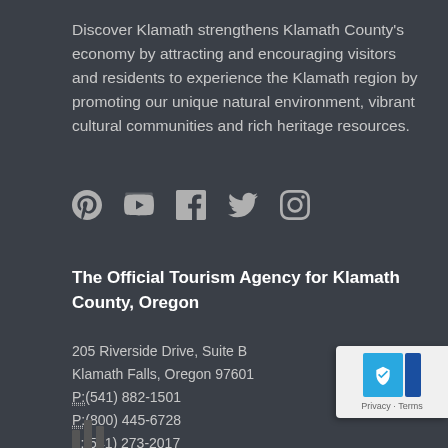Discover Klamath strengthens Klamath County's economy by attracting and encouraging visitors and residents to experience the Klamath region by promoting our unique natural environment, vibrant cultural communities and rich heritage resources.
[Figure (illustration): Row of social media icons: Pinterest, YouTube, Facebook, Twitter, Instagram]
The Official Tourism Agency for Klamath County, Oregon
205 Riverside Drive, Suite B
Klamath Falls, Oregon 97601
P:(541) 882-1501
P:(800) 445-6728
F:(541) 273-2017
E: info@discoverklamath.com